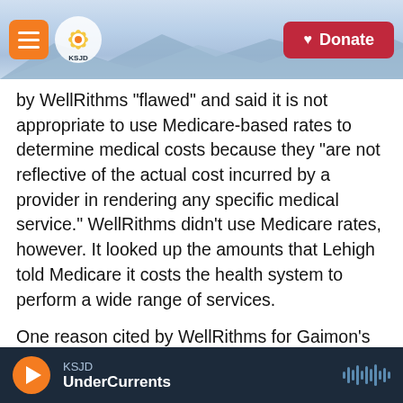KSJD — Donate
by WellRithms "flawed" and said it is not appropriate to use Medicare-based rates to determine medical costs because they "are not reflective of the actual cost incurred by a provider in rendering any specific medical service." WellRithms didn't use Medicare rates, however. It looked up the amounts that Lehigh told Medicare it costs the health system to perform a wide range of services.
One reason cited by WellRithms for Gaimon's high bill: Lehigh Valley Hospital charged him $25,915 for a night in the intensive care unit and $29,785 for a night in the burn unit, according to an explanation
KSJD — UnderCurrents